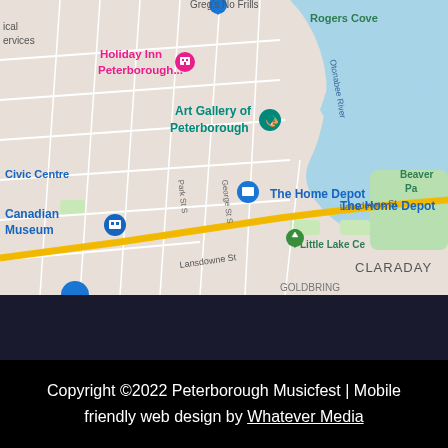[Figure (map): Google Maps screenshot showing Peterborough, Ontario area with landmarks including Holiday Inn Peterborough, Art Gallery of Peterborough, Civic Centre, Canadian Museum, The Home Depot, Little Lake Ce(metery), Beaver Pa(rk), Rogers Cove, Otonabee River, Lansdowne St, George St S, Park St S, and the CLARADAY neighborhood.]
Copyright ©2022 Peterborough Musicfest | Mobile friendly web design by Whatever Media